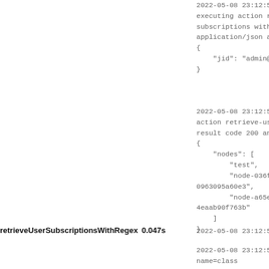2022-05-08 23:12:55
executing action r
subscriptions with
application/json a
{
    "jid": "admin@
}
2022-05-08 23:12:55
action retrieve-us
result code 200 an
{
    "nodes": [
        "test",
        "node-036f
0963095a60e3",
        "node-a65e
4eaab90f763b"
    ]
}
retrieveUserSubscriptionsWithRegex
0.047s
2022-05-08 23:12:55
2022-05-08 23:12:55
name=class